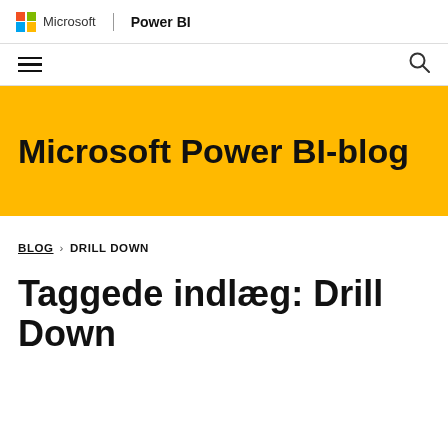Microsoft | Power BI
[Figure (screenshot): Navigation bar with hamburger menu icon on the left and search icon on the right]
Microsoft Power BI-blog
BLOG > DRILL DOWN
Taggede indlæg: Drill Down